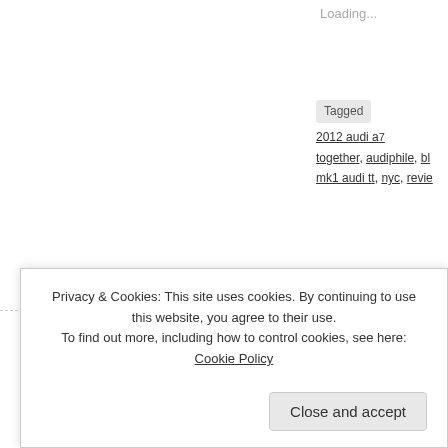Loading...
Tagged  2012 audi a7  together,  audiphile,  bl...  mk1 audi tt,  nyc,  revie...
JULY222011
5 COMMENTS
AUTOMOTIVE, CARS, DESIGN, IDEI, MEN, VINTAGE
A TRIBUTE TO A
[Figure (photo): Black and white vintage photograph, partially visible]
Privacy & Cookies: This site uses cookies. By continuing to use this website, you agree to their use.
To find out more, including how to control cookies, see here: Cookie Policy
Close and accept